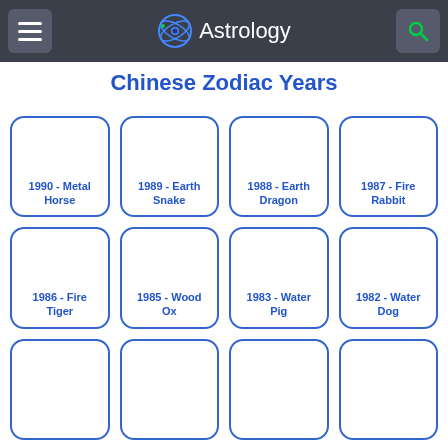Astrology
Chinese Zodiac Years
[Figure (infographic): Grid of Chinese Zodiac year cards: 1990 Metal Horse, 1989 Earth Snake, 1988 Earth Dragon, 1987 Fire Rabbit, 1986 Fire Tiger, 1985 Wood Ox, 1983 Water Pig, 1982 Water Dog, and 4 more partially visible cards in third row]